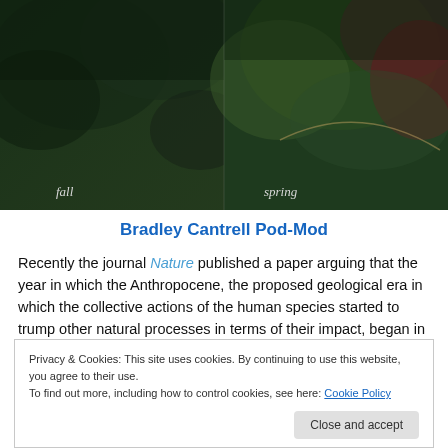[Figure (photo): Side-by-side photo comparison showing 'fall' (left, dark green/brown foliage) and 'spring' (right, green with red tones) seasonal views, labeled with italic text at the bottom.]
Bradley Cantrell Pod-Mod
Recently the journal Nature published a paper arguing that the year in which the Anthropocene, the proposed geological era in which the collective actions of the human species started to trump other natural processes in terms of their impact, began in the year 1610 AD. If that year
Privacy & Cookies: This site uses cookies. By continuing to use this website, you agree to their use.
To find out more, including how to control cookies, see here: Cookie Policy
why the author's chose it.